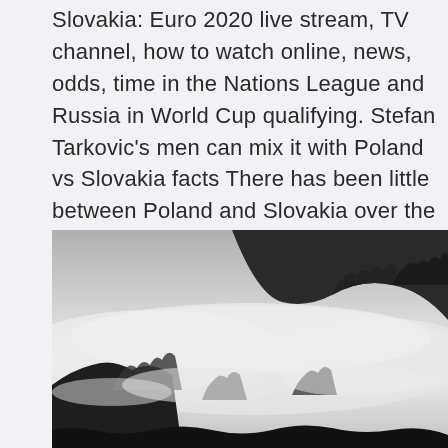Slovakia: Euro 2020 live stream, TV channel, how to watch online, news, odds, time in the Nations League and Russia in World Cup qualifying. Stefan Tarkovic's men can mix it with Poland vs Slovakia facts There has been little between Poland and Slovakia over the years as they meet in Saint Petersburg in the opening round of Group E games.
[Figure (photo): Black and white landscape photograph of forested mountains with fog or low clouds drifting through the trees.]